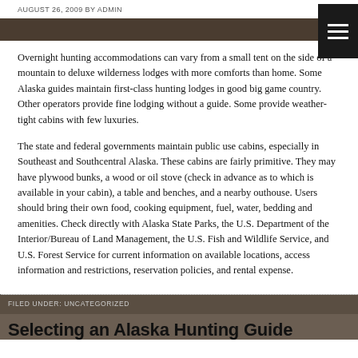AUGUST 26, 2009 BY ADMIN
Overnight hunting accommodations can vary from a small tent on the side of a mountain to deluxe wilderness lodges with more comforts than home. Some Alaska guides maintain first-class hunting lodges in good big game country. Other operators provide fine lodging without a guide. Some provide weather-tight cabins with few luxuries.
The state and federal governments maintain public use cabins, especially in Southeast and Southcentral Alaska. These cabins are fairly primitive. They may have plywood bunks, a wood or oil stove (check in advance as to which is available in your cabin), a table and benches, and a nearby outhouse. Users should bring their own food, cooking equipment, fuel, water, bedding and amenities. Check directly with Alaska State Parks, the U.S. Department of the Interior/Bureau of Land Management, the U.S. Fish and Wildlife Service, and U.S. Forest Service for current information on available locations, access information and restrictions, reservation policies, and rental expense.
FILED UNDER: UNCATEGORIZED
Selecting an Alaska Hunting Guide